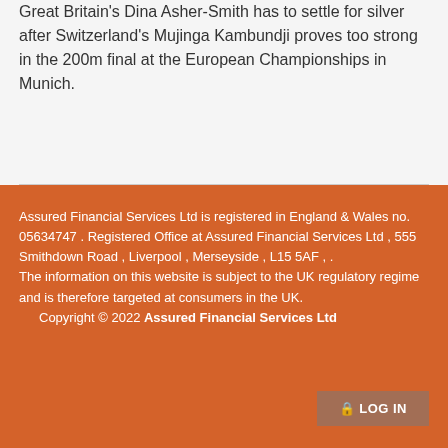Great Britain's Dina Asher-Smith has to settle for silver after Switzerland's Mujinga Kambundji proves too strong in the 200m final at the European Championships in Munich.
Assured Financial Services Ltd is registered in England & Wales no. 05634747 . Registered Office at Assured Financial Services Ltd , 555 Smithdown Road , Liverpool , Merseyside , L15 5AF , . The information on this website is subject to the UK regulatory regime and is therefore targeted at consumers in the UK.
Copyright © 2022 Assured Financial Services Ltd
LOG IN